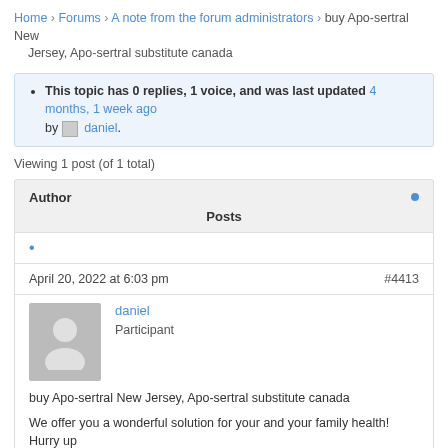Home › Forums › A note from the forum administrators › buy Apo-sertral New Jersey, Apo-sertral substitute canada
This topic has 0 replies, 1 voice, and was last updated 4 months, 1 week ago by daniel.
Viewing 1 post (of 1 total)
| Author | Posts |
| --- | --- |
April 20, 2022 at 6:03 pm
#4413
daniel
Participant
buy Apo-sertral New Jersey, Apo-sertral substitute canada
We offer you a wonderful solution for your and your family health! Hurry up